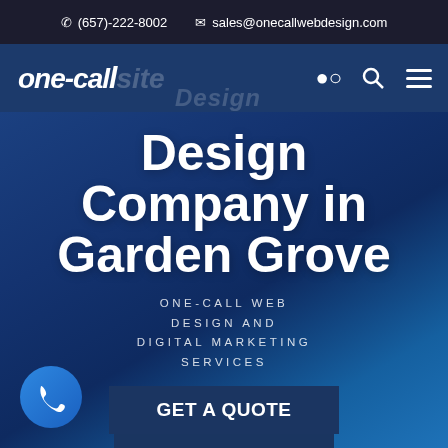(657)-222-8002   sales@onecallwebdesign.com
[Figure (logo): One-Call web design logo with italic bold white text on dark blue nav bar, with search and hamburger menu icons]
Website Design Company in Garden Grove
ONE-CALL WEB DESIGN AND DIGITAL MARKETING SERVICES
GET A QUOTE